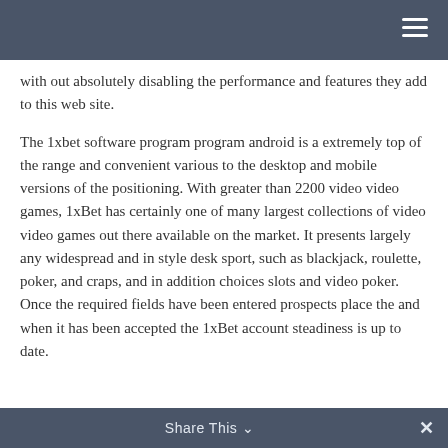with out absolutely disabling the performance and features they add to this web site.
The 1xbet software program program android is a extremely top of the range and convenient various to the desktop and mobile versions of the positioning. With greater than 2200 video video games, 1xBet has certainly one of many largest collections of video video games out there available on the market. It presents largely any widespread and in style desk sport, such as blackjack, roulette, poker, and craps, and in addition choices slots and video poker. Once the required fields have been entered prospects place the and when it has been accepted the 1xBet account steadiness is up to date.
Share This ✓ ✕